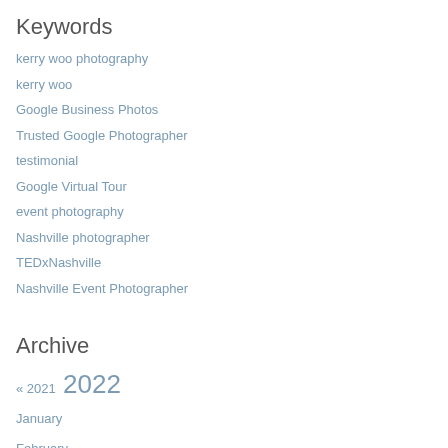Keywords
kerry woo photography
kerry woo
Google Business Photos
Trusted Google Photographer
testimonial
Google Virtual Tour
event photography
Nashville photographer
TEDxNashville
Nashville Event Photographer
Archive
« 2021  2022
January
February
March
April
May
June